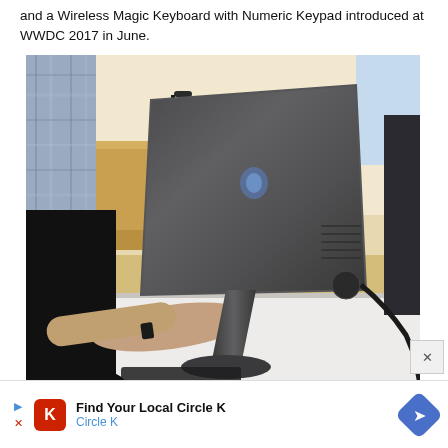and a Wireless Magic Keyboard with Numeric Keypad introduced at WWDC 2017 in June.
[Figure (photo): Rear view of an iMac Pro in space gray on a white table, with a person in a dark shirt reaching toward it, another person in a plaid shirt visible on the left, luggage and wood cabinetry in the background, and a cable trailing off to the right.]
Find Your Local Circle K
Circle K